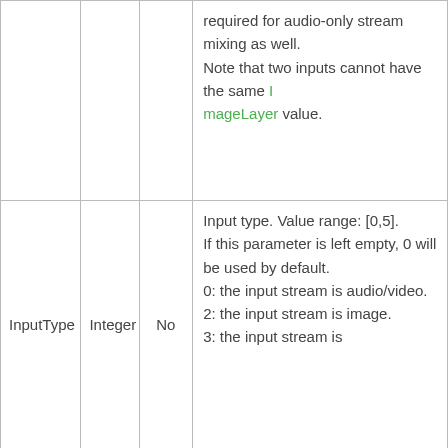|  |  |  |  |
| --- | --- | --- | --- |
|  |  |  | required for audio-only stream mixing as well.
Note that two inputs cannot have the same ImageLayer value. |
| InputType | Integer | No | Input type. Value range: [0,5].
If this parameter is left empty, 0 will be used by default.
0: the input stream is audio/video.
2: the input stream is image.
3: the input stream is |